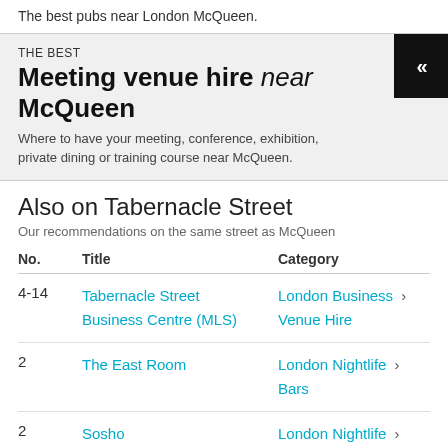The best pubs near London McQueen.
THE BEST
Meeting venue hire near McQueen
Where to have your meeting, conference, exhibition, private dining or training course near McQueen.
Also on Tabernacle Street
Our recommendations on the same street as McQueen
| No. | Title | Category |
| --- | --- | --- |
| 4-14 | Tabernacle Street Business Centre (MLS) | London Business > Venue Hire |
| 2 | The East Room | London Nightlife > Bars |
| 2 | Sosho | London Nightlife > Bars |